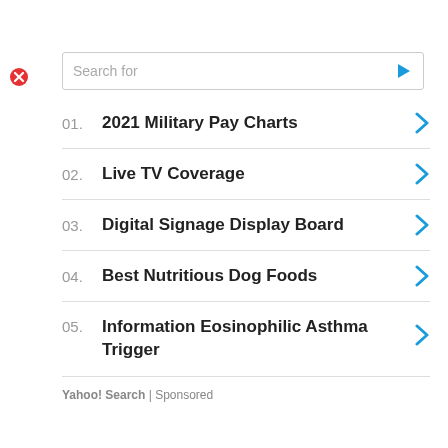Search for
01. 2021 Military Pay Charts
02. Live TV Coverage
03. Digital Signage Display Board
04. Best Nutritious Dog Foods
05. Information Eosinophilic Asthma Trigger
Yahoo! Search | Sponsored